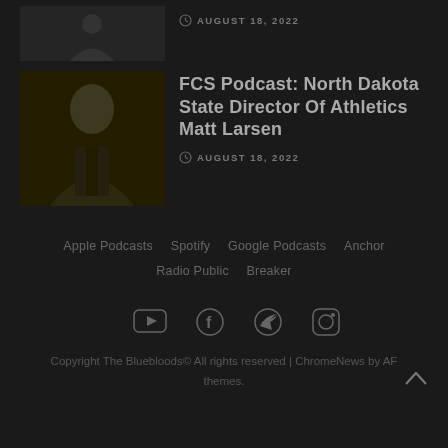[Figure (photo): Dark outdoor photo, small article thumbnail at top]
AUGUST 18, 2022
[Figure (photo): Photo of a man in a suit, North Dakota State Athletics Director Matt Larsen]
FCS Podcast: North Dakota State Director Of Athletics Matt Larsen
AUGUST 18, 2022
Apple Podcasts
Spotify
Google Podcasts
Anchor
Radio Public
Breaker
[Figure (infographic): Social media icons: YouTube, Facebook, Twitter, Instagram]
Copyright The Bluebloods© All rights reserved | ChromeNews by AF themes.